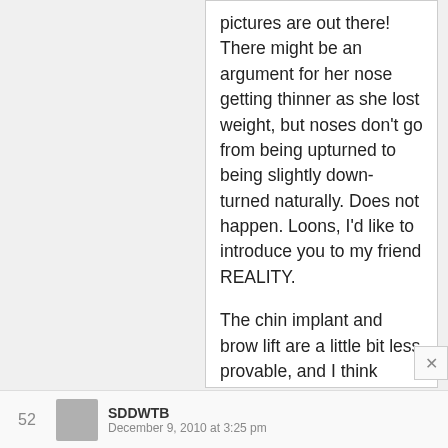pictures are out there! There might be an argument for her nose getting thinner as she lost weight, but noses don't go from being upturned to being slightly down-turned naturally. Does not happen. Loons, I'd like to introduce you to my friend REALITY.
The chin implant and brow lift are a little bit less provable, and I think we're all speculating on that issue, but it is certainly possible. Angelina seems to be okay with lying to press about issues that may make her appear less than physically perfect (i.e., fertility and beauty).
Disclaimer – I'm no fan – of hers or Jennifer Lonely Cat-Lady-iston.
52
SDDWTB
December 9, 2010 at 3:25 pm